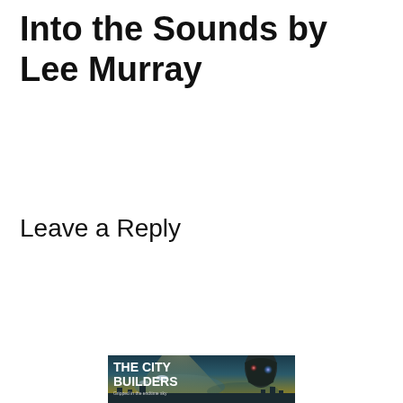Into the Sounds by Lee Murray
Leave a Reply
Enter your comment here...
[Figure (illustration): Book cover for 'The City Builders' showing a sci-fi scene with a dark hooded robot/figure with glowing blue and red eyes against a dramatic cloudy sky with light beams and flying objects in the background. White bold text reads 'THE CITY BUILDERS' with a subtitle line below.]